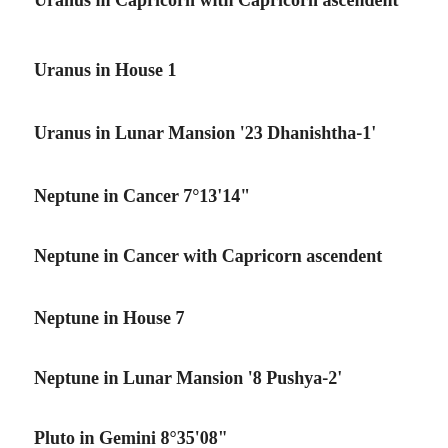Uranus in Capricorn with Capricorn ascendent
Uranus in House 1
Uranus in Lunar Mansion '23 Dhanishtha-1'
Neptune in Cancer 7°13'14"
Neptune in Cancer with Capricorn ascendent
Neptune in House 7
Neptune in Lunar Mansion '8 Pushya-2'
Pluto in Gemini 8°35'08"
Pluto in Gemini with Capricorn ascendent
Pluto in House 6
Pluto in Lunar Mansion (cut off)